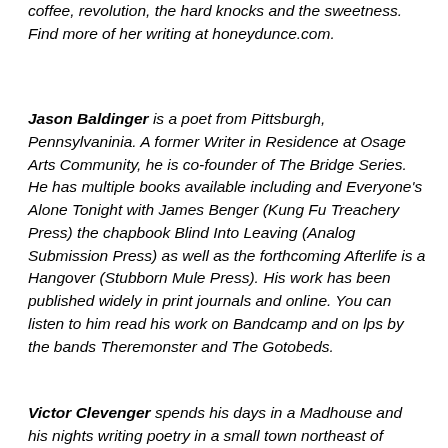coffee, revolution, the hard knocks and the sweetness. Find more of her writing at honeydunce.com.
Jason Baldinger is a poet from Pittsburgh, Pennsylvaninia. A former Writer in Residence at Osage Arts Community, he is co-founder of The Bridge Series. He has multiple books available including and Everyone's Alone Tonight with James Benger (Kung Fu Treachery Press) the chapbook Blind Into Leaving (Analog Submission Press) as well as the forthcoming Afterlife is a Hangover (Stubborn Mule Press). His work has been published widely in print journals and online. You can listen to him read his work on Bandcamp and on lps by the bands Theremonster and The Gotobeds.
Victor Clevenger spends his days in a Madhouse and his nights writing poetry in a small town northeast of Kansas